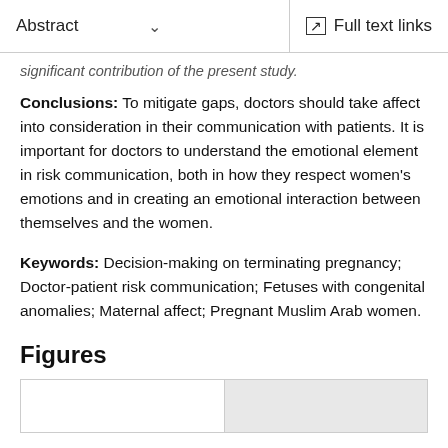Abstract  ∨   Full text links
significant contribution of the present study.
Conclusions: To mitigate gaps, doctors should take affect into consideration in their communication with patients. It is important for doctors to understand the emotional element in risk communication, both in how they respect women's emotions and in creating an emotional interaction between themselves and the women.
Keywords: Decision-making on terminating pregnancy; Doctor-patient risk communication; Fetuses with congenital anomalies; Maternal affect; Pregnant Muslim Arab women.
Figures
[Figure (other): Figures thumbnail preview area, two panels side by side]